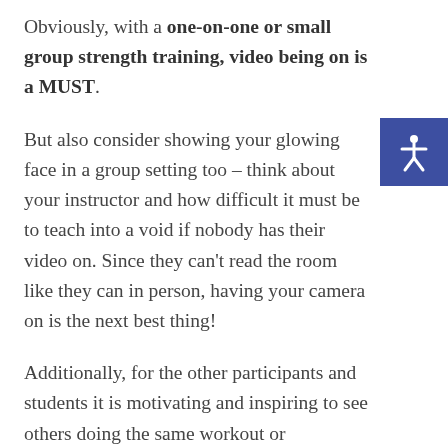Obviously, with a one-on-one or small group strength training, video being on is a MUST.
But also consider showing your glowing face in a group setting too – think about your instructor and how difficult it must be to teach into a void if nobody has their video on. Since they can't read the room like they can in person, having your camera on is the next best thing!
Additionally, for the other participants and students it is motivating and inspiring to see others doing the same workout or
[Figure (illustration): Accessibility icon: a blue square button with a white stylized human figure with arms and legs spread, representing accessibility/wheelchair accessibility symbol]